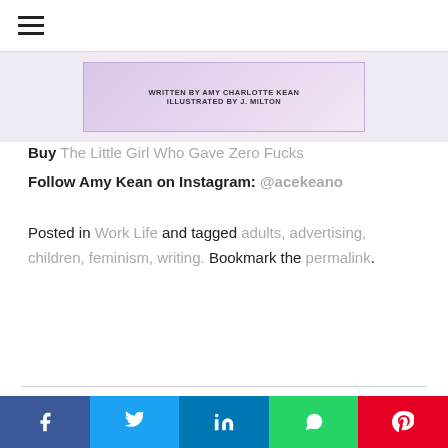☰
[Figure (photo): Book cover image strip showing text: WRITTEN BY AMY CHARLOTTE KEAN, ILLUSTRATED BY J. MILTON]
Buy The Little Girl Who Gave Zero Fucks
Follow Amy Kean on Instagram: @acekeano
Posted in Work Life and tagged adults, advertising, children, feminism, writing. Bookmark the permalink.
This website uses cookies to improve your experience. We'll assume you're ok with this, but you can opt-out if you wish.
f  t  in  WhatsApp  p